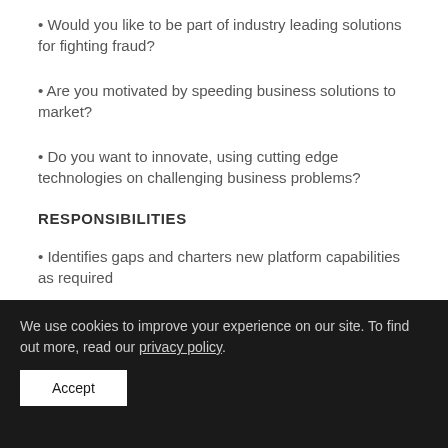• Would you like to be part of industry leading solutions for fighting fraud?
• Are you motivated by speeding business solutions to market?
• Do you want to innovate, using cutting edge technologies on challenging business problems?
RESPONSIBILITIES
• Identifies gaps and charters new platform capabilities as required
We use cookies to improve your experience on our site. To find out more, read our privacy policy.